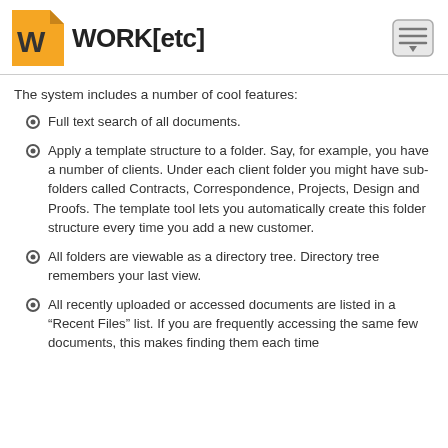WORK[etc]
The system includes a number of cool features:
Full text search of all documents.
Apply a template structure to a folder. Say, for example, you have a number of clients. Under each client folder you might have sub-folders called Contracts, Correspondence, Projects, Design and Proofs. The template tool lets you automatically create this folder structure every time you add a new customer.
All folders are viewable as a directory tree. Directory tree remembers your last view.
All recently uploaded or accessed documents are listed in a “Recent Files” list. If you are frequently accessing the same few documents, this makes finding them each time